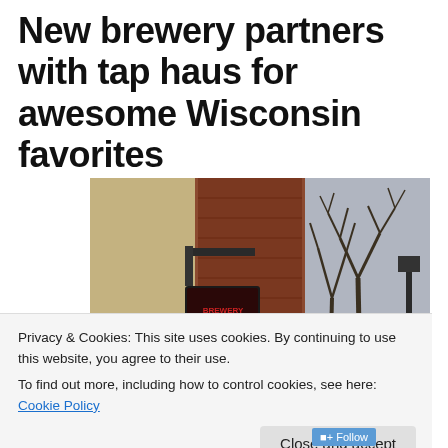New brewery partners with tap haus for awesome Wisconsin favorites
[Figure (photo): Street-level photograph of a building exterior with a hanging sign (appears to be a brewery or bar), brick facade visible on the right, bare winter trees in background on the right side, overcast sky]
Privacy & Cookies: This site uses cookies. By continuing to use this website, you agree to their use.
To find out more, including how to control cookies, see here: Cookie Policy